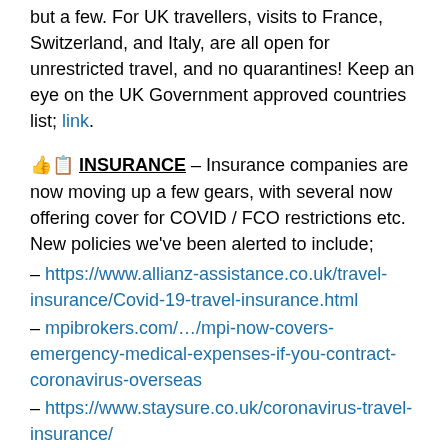but a few. For UK travellers, visits to France, Switzerland, and Italy, are all open for unrestricted travel, and no quarantines! Keep an eye on the UK Government approved countries list; link.
👍📋 INSURANCE – Insurance companies are now moving up a few gears, with several now offering cover for COVID / FCO restrictions etc. New policies we've been alerted to include;
– https://www.allianz-assistance.co.uk/travel-insurance/Covid-19-travel-insurance.html
– mpibrokers.com/…/mpi-now-covers-emergency-medical-expenses-if-you-contract-coronavirus-overseas
– https://www.staysure.co.uk/coronavirus-travel-insurance/
– https://www.trailfinders.com/insurance#/step1
Note that we are not on a commission or referral benefit system for any insurance policy mentioned, and these are